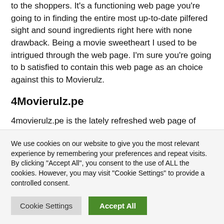to the shoppers. It's a functioning web page you're going to in finding the entire most up-to-date pilfered sight and sound ingredients right here with none drawback. Being a movie sweetheart I used to be intrigued through the web page. I'm sure you're going to b satisfied to contain this web page as an choice against this to Movierulz.
4Movierulz.pe
4movierulz.pe is the lately refreshed web page of movierulz. It's some other house produced in 2020 likewise diverted to the authority server of movierulz. To
We use cookies on our website to give you the most relevant experience by remembering your preferences and repeat visits. By clicking "Accept All", you consent to the use of ALL the cookies. However, you may visit "Cookie Settings" to provide a controlled consent.